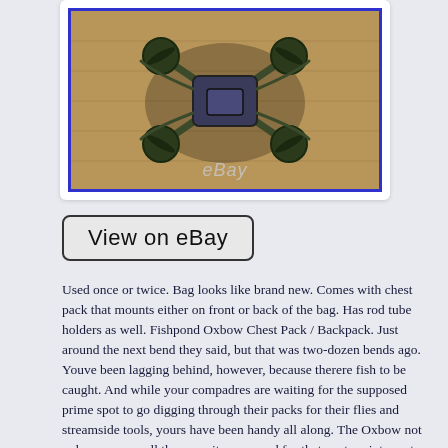[Figure (photo): Aerial top-down view of a dark drone/quadcopter on a wooden floor surface, with eBay watermark overlay]
View on eBay
Used once or twice. Bag looks like brand new. Comes with chest pack that mounts either on front or back of the bag. Has rod tube holders as well. Fishpond Oxbow Chest Pack / Backpack. Just around the next bend they said, but that was two-dozen bends ago. Youve been lagging behind, however, because therere fish to be caught. And while your compadres are waiting for the supposed prime spot to go digging through their packs for their flies and streamside tools, yours have been handy all along. The Oxbow not only possesses all the capacity you need for that venture into parts unknown, but it comes with a Savage Creek Chest Pack thats attachable via front (at the shoulder straps), or behind (to conceal what youre really up to from your friends). Hydration pack compatible too, but if youre asked for a sip you can say take that dripping off the fish I just caught, suckas. Constructed with our new Cyclopond recycled fabrics. Structured back air mesh back panel to